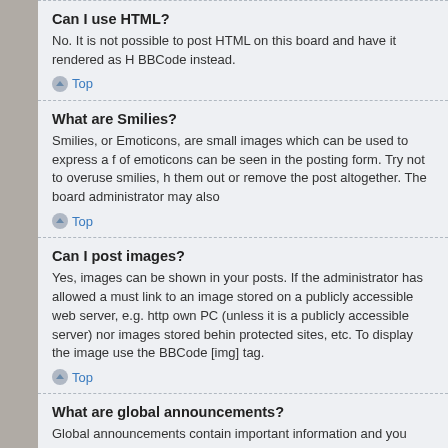Can I use HTML?
No. It is not possible to post HTML on this board and have it rendered as H BBCode instead.
Top
What are Smilies?
Smilies, or Emoticons, are small images which can be used to express a f of emoticons can be seen in the posting form. Try not to overuse smilies, h them out or remove the post altogether. The board administrator may also
Top
Can I post images?
Yes, images can be shown in your posts. If the administrator has allowed a must link to an image stored on a publicly accessible web server, e.g. http own PC (unless it is a publicly accessible server) nor images stored behin protected sites, etc. To display the image use the BBCode [img] tag.
Top
What are global announcements?
Global announcements contain important information and you should read your User Control Panel. Global announcement permissions are granted b
Top
What are announcements?